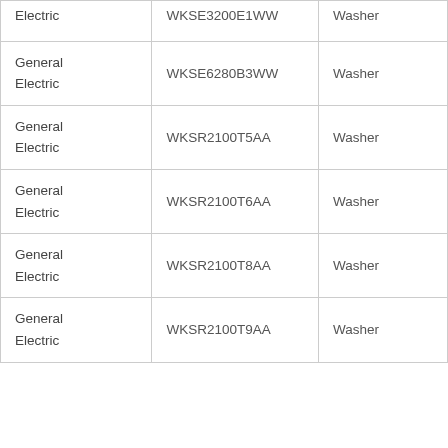| General Electric | WKSE3200E1WW | Washer |
| General Electric | WKSE6280B3WW | Washer |
| General Electric | WKSR2100T5AA | Washer |
| General Electric | WKSR2100T6AA | Washer |
| General Electric | WKSR2100T8AA | Washer |
| General Electric | WKSR2100T9AA | Washer |